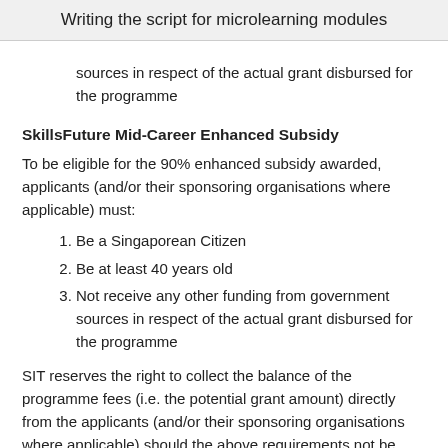Writing the script for microlearning modules
sources in respect of the actual grant disbursed for the programme
SkillsFuture Mid-Career Enhanced Subsidy
To be eligible for the 90% enhanced subsidy awarded, applicants (and/or their sponsoring organisations where applicable) must:
Be a Singaporean Citizen
Be at least 40 years old
Not receive any other funding from government sources in respect of the actual grant disbursed for the programme
SIT reserves the right to collect the balance of the programme fees (i.e. the potential grant amount) directly from the applicants (and/or their sponsoring organisations where applicable) should the above requirements not be